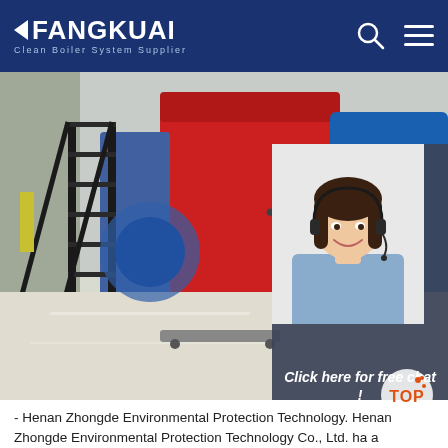FANGKUAI — Clean Boiler System Supplier
[Figure (photo): Industrial boiler room with large red boiler equipment, black metal staircase, pipes and hoses, grey floor — with 24/7 online chat panel overlay showing a female customer service agent wearing a headset]
- Henan Zhongde Environmental Protection Technology. Henan Zhongde Environmental Protection Technology Co., Ltd. ha a registered capital of 90 million.The company takes the long-term improvement of the national brand as its purpose, strives toward 'technology, environment, service', and aims at 'reasonable